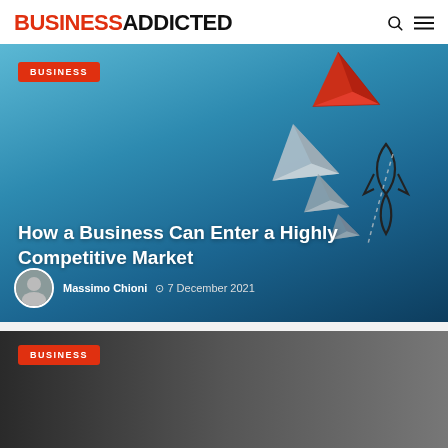BUSINESSADDICTED
[Figure (screenshot): Hero image showing paper airplanes on a blue gradient background. A red paper airplane leads several grey/white paper airplanes, with a rocket launch trail beneath the red one. Text overlay: 'How a Business Can Enter a Highly Competitive Market' by Massimo Chioni, 7 December 2021. BUSINESS category tag shown.]
How a Business Can Enter a Highly Competitive Market
Massimo Chioni  ⊙ 7 December 2021
[Figure (photo): Partially visible second article card with dark background and BUSINESS category tag.]